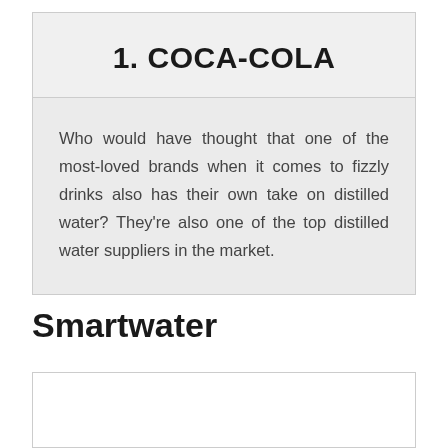1. COCA-COLA
Who would have thought that one of the most-loved brands when it comes to fizzly drinks also has their own take on distilled water? They're also one of the top distilled water suppliers in the market.
Smartwater